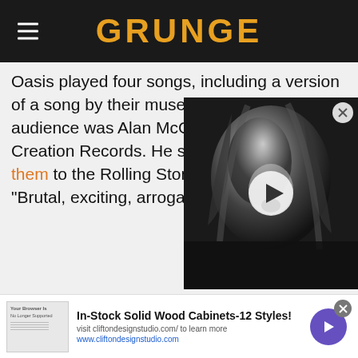GRUNGE
Oasis played four songs, including a version of a song by their muses The Beatles, "I am... audience was Alan McGee, fou... Creation Records. He signed th... them to the Rolling Stones, an... "Brutal, exciting, arrogant."
[Figure (photo): Black and white photo of a long-haired musician performing, with a video play button overlay]
In-Stock Solid Wood Cabinets-12 Styles!
visit cliftondesignstudio.com/ to learn more
www.cliftondesignstudio.com